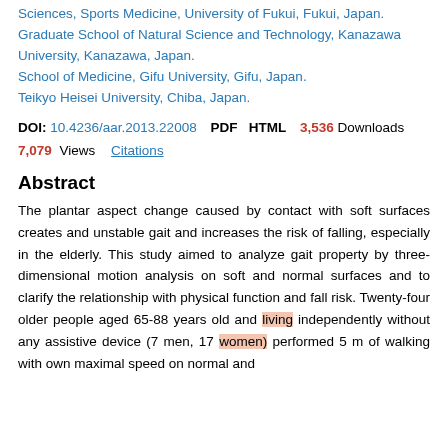Sciences, Sports Medicine, University of Fukui, Fukui, Japan.
Graduate School of Natural Science and Technology, Kanazawa University, Kanazawa, Japan.
School of Medicine, Gifu University, Gifu, Japan.
Teikyo Heisei University, Chiba, Japan.
DOI: 10.4236/aar.2013.22008  PDF  HTML  3,536 Downloads  7,079 Views  Citations
Abstract
The plantar aspect change caused by contact with soft surfaces creates and unstable gait and increases the risk of falling, especially in the elderly. This study aimed to analyze gait property by three-dimensional motion analysis on soft and normal surfaces and to clarify the relationship with physical function and fall risk. Twenty-four older people aged 65-88 years old and living independently without any assistive device (7 men, 17 women) performed 5 m of walking with own maximal speed on normal and